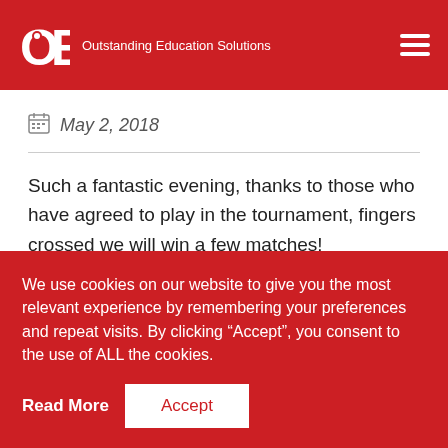OES Outstanding Education Solutions
May 2, 2018
Such a fantastic evening, thanks to those who have agreed to play in the tournament, fingers crossed we will win a few matches!
We use cookies on our website to give you the most relevant experience by remembering your preferences and repeat visits. By clicking “Accept”, you consent to the use of ALL the cookies.
Read More
Accept